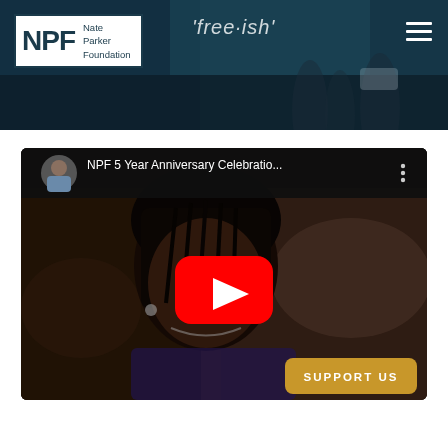[Figure (screenshot): Nate Parker Foundation (NPF) website header with logo on left showing 'NPF' letters and 'Nate Parker Foundation' text, a teal/dark blue hero banner background with 'free·ish' text overlay and silhouettes of people, and a hamburger menu icon on the right.]
[Figure (screenshot): Embedded YouTube video titled 'NPF 5 Year Anniversary Celebratio...' showing a young Black woman in a purple top with braided hair, channel thumbnail avatar in top-left, three-dot menu icon, and a red YouTube play button in the center. A gold 'SUPPORT US' button is overlaid in the bottom-right corner.]